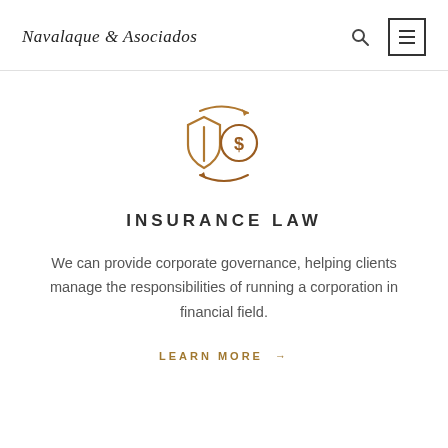Navalaque & Asociados
[Figure (illustration): Insurance law icon: a shield with a vertical line and a coin symbol (dollar sign in a circle), with circular arrows around them, rendered in brown/gold outline style]
INSURANCE LAW
We can provide corporate governance, helping clients manage the responsibilities of running a corporation in financial field.
LEARN MORE →